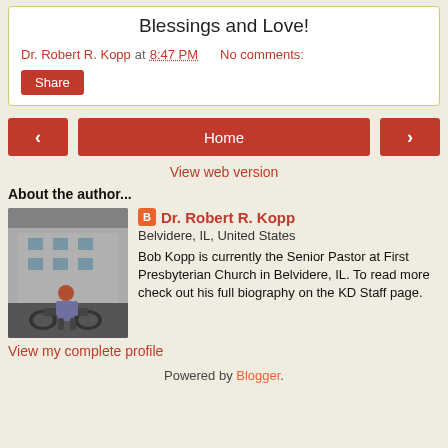Blessings and Love!
Dr. Robert R. Kopp at 8:47 PM   No comments:
Share
Home
View web version
About the author...
[Figure (photo): Photo of Dr. Robert R. Kopp on a motorcycle outside a building]
Dr. Robert R. Kopp
Belvidere, IL, United States
Bob Kopp is currently the Senior Pastor at First Presbyterian Church in Belvidere, IL. To read more check out his full biography on the KD Staff page.
View my complete profile
Powered by Blogger.